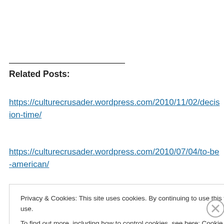Related Posts:
https://culturecrusader.wordpress.com/2010/11/02/decision-time/
https://culturecrusader.wordpress.com/2010/07/04/to-be-american/
Privacy & Cookies: This site uses cookies. By continuing to use this website, you agree to their use.
To find out more, including how to control cookies, see here: Cookie Policy
Close and accept